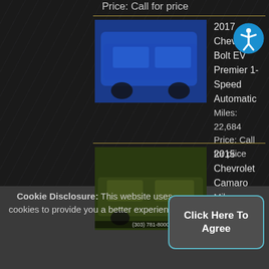Price: Call for price
2017 Chevrolet Bolt EV Premier 1-Speed Automatic
Miles: 22,684
Price: Call for price
2015 Chevrolet Camaro
Miles: 33,521
Price: Call for price
2019 Chevrolet Cruze
Miles: 22,684
Price: Call for price
2019 Chevrolet Equinox
Miles: 30,675
Cookie Disclosure: This website uses cookies to provide you a better experience.
Click Here To Agree